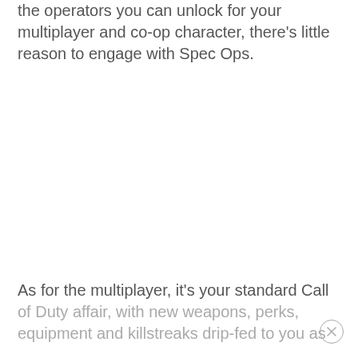the operators you can unlock for your multiplayer and co-op character, there's little reason to engage with Spec Ops.
As for the multiplayer, it's your standard Call of Duty affair, with new weapons, perks, equipment and killstreaks drip-fed to you as